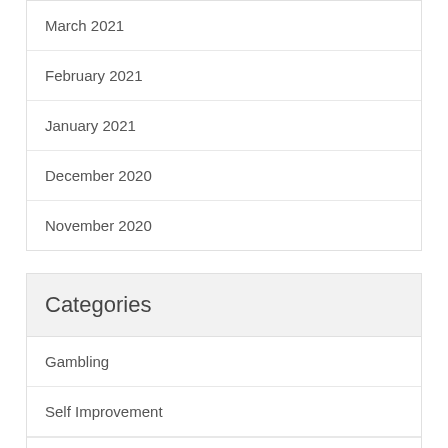March 2021
February 2021
January 2021
December 2020
November 2020
Categories
Gambling
Self Improvement
Uncategorized